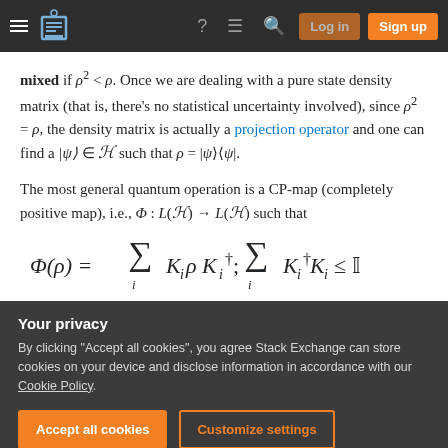Stack Exchange navigation bar with hamburger menu, logo, help, inbox, search icons, Log in and Sign up buttons
mixed if ρ² < ρ. Once we are dealing with a pure state density matrix (that is, there's no statistical uncertainty involved), since ρ² = ρ, the density matrix is actually a projection operator and one can find a |ψ⟩ ∈ H such that ρ = |ψ⟩⟨ψ|.
The most general quantum operation is a CP-map (completely positive map), i.e., Φ : L(H) → L(H) such that
Your privacy — By clicking "Accept all cookies", you agree Stack Exchange can store cookies on your device and disclose information in accordance with our Cookie Policy.